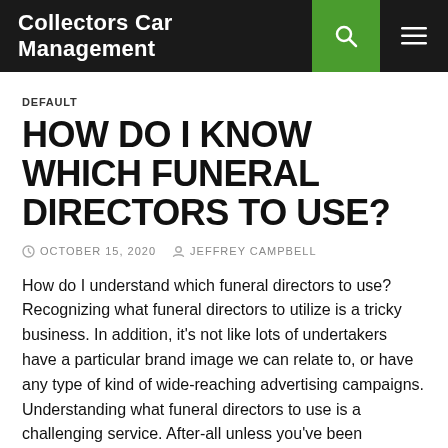Collectors Car Management
DEFAULT
HOW DO I KNOW WHICH FUNERAL DIRECTORS TO USE?
OCTOBER 15, 2020  JEFFREY CAMPBELL
How do I understand which funeral directors to use? Recognizing what funeral directors to utilize is a tricky business. In addition, it's not like lots of undertakers have a particular brand image we can relate to, or have any type of kind of wide-reaching advertising campaigns. Understanding what funeral directors to use is a challenging service. After-all unless you've been unfavorable to have actually had multiple